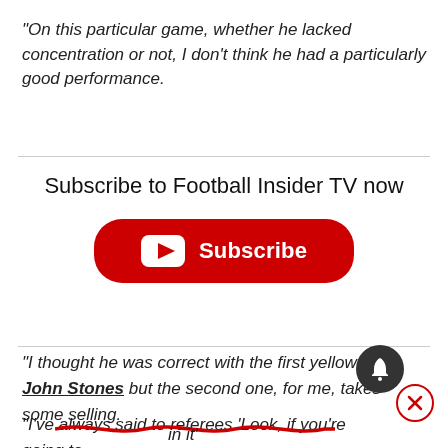“On this particular game, whether he lacked concentration or not, I don’t think he had a particularly good performance.
[Figure (other): YouTube Subscribe button with red rounded rectangle, YouTube play icon, and white text 'Subscribe', with heading 'Subscribe to Football Insider TV now']
“I thought he was correct with the first yellow for John Stones but the second one, for me, takes some selling.
“I’ve always said to referees ‘Look, if you’re going to issue a second yellow I want to see it more towards an orange, a [cut off]